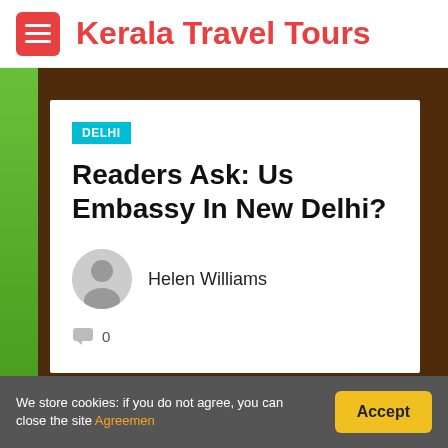Kerala Travel Tours
DELHI
Readers Ask: Us Embassy In New Delhi?
Helen Williams
0
We store cookies: if you do not agree, you can close the site Agreemen  Accept